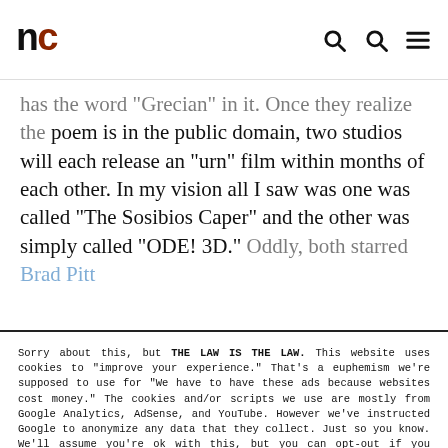nc
has the word "Grecian" in it. Once they realize the poem is in the public domain, two studios will each release an "urn" film within months of each other. In my vision all I saw was one was called "The Sosibios Caper" and the other was simply called "ODE! 3D." Oddly, both starred Brad Pitt
Sorry about this, but THE LAW IS THE LAW. This website uses cookies to "improve your experience." That's a euphemism we're supposed to use for "We have to have these ads because websites cost money." The cookies and/or scripts we use are mostly from Google Analytics, AdSense, and YouTube. However we've instructed Google to anonymize any data that they collect. Just so you know. We'll assume you're ok with this, but you can opt-out if you wish. Just bear in mind, certain embeds and such might not work.<br /> <br /> Also, please be aware that when we link out to products, we may earn a commission for doing so. Because we're certainly not doing it for our health. See our privacy policy & terms of use for more info than you would ever want to know. - Privacy Policy & Terms of Use
Accept
Decline
Cookie Settings